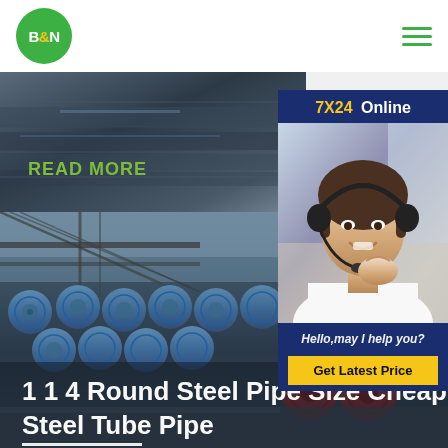[Figure (logo): B&N company logo: green circle with white B&N text]
[Figure (illustration): Hamburger menu icon with three green horizontal lines]
[Figure (photo): Dark industrial steel pipe/tube image with READ MORE text overlay in green]
[Figure (infographic): 7X24 Online chat widget panel with customer service representative photo, italic greeting text Hello,may I help you? and Get Latest Price yellow button]
[Figure (photo): Industrial steel pipe warehouse showing bundles of round steel tubes stacked in rows]
1 1 4 Round Steel Pipe Size Cheap Steel Tube Pipe